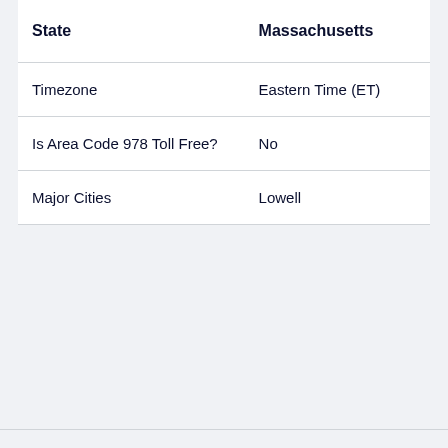| State | Massachusetts |
| --- | --- |
| Timezone | Eastern Time (ET) |
| Is Area Code 978 Toll Free? | No |
| Major Cities | Lowell |